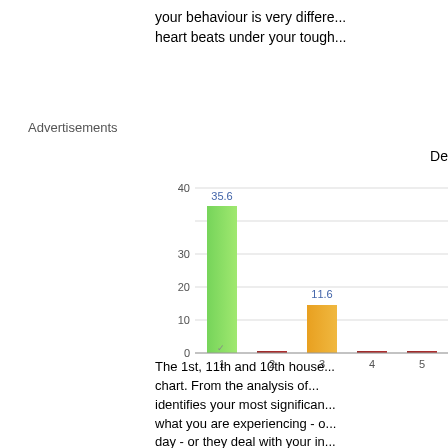your behaviour is very different... heart beats under your tough...
Advertisements
De
[Figure (bar-chart): ]
The 1st, 11th and 10th house... chart. From the analysis of... identifies your most significant... what you are experiencing - o... day - or they deal with your in...